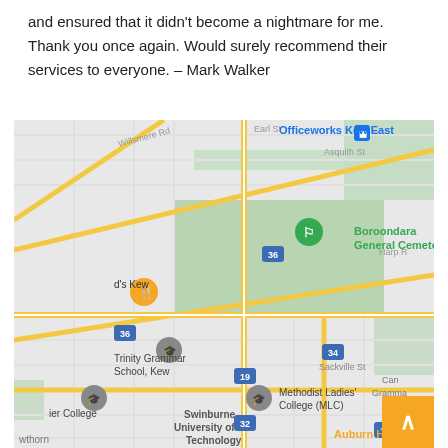and ensured that it didn't become a nightmare for me. Thank you once again. Would surely recommend their services to everyone. – Mark Walker
[Figure (map): Google Maps screenshot showing Kew East area of Melbourne, Australia. Shows Boroondara General Cemetery (green area), Trinity Grammar School Kew, Methodist Ladies' College (MLC), Swinburne University of Technology, Auburn Hotel, Officeworks Kew East, and various streets including Earl St, Asquith St, Willsmere Rd, Sackville St. Route markers 36, 34, 32, 19, 17 visible. Orange road network indicates major roads.]